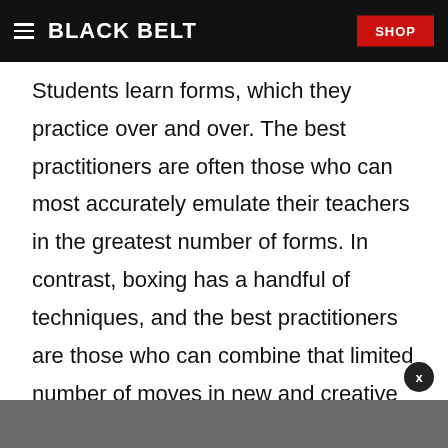BLACK BELT | SHOP
Students learn forms, which they practice over and over. The best practitioners are often those who can most accurately emulate their teachers in the greatest number of forms. In contrast, boxing has a handful of techniques, and the best practitioners are those who can combine that limited number of moves in new and creative ways.